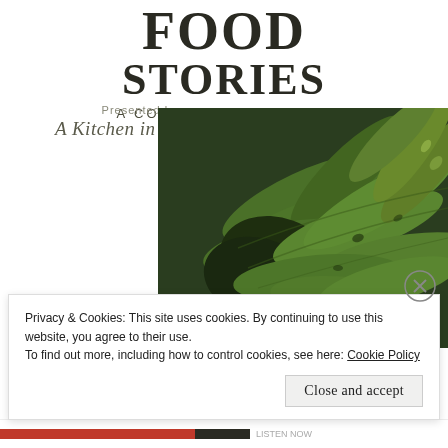FOOD STORIES
A COMMUNITY PODCAST
Presented by
A Kitchen in Uganda
[Figure (photo): Close-up photograph of a bunch of green cooking bananas (plantains/matoke), filling the right side of the image with dark green banana fingers clustered together.]
Privacy & Cookies: This site uses cookies. By continuing to use this website, you agree to their use.
To find out more, including how to control cookies, see here: Cookie Policy
Close and accept